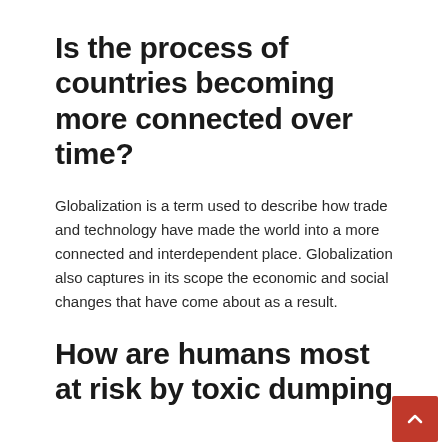Is the process of countries becoming more connected over time?
Globalization is a term used to describe how trade and technology have made the world into a more connected and interdependent place. Globalization also captures in its scope the economic and social changes that have come about as a result.
How are humans most at risk by toxic dumping